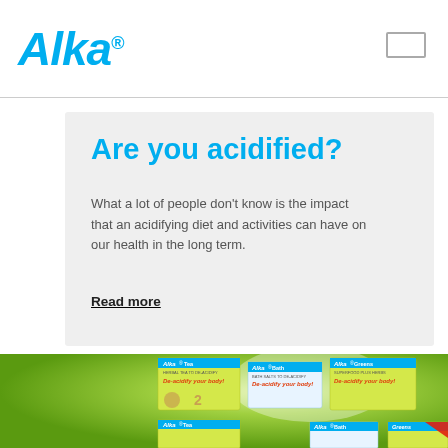Alka®
Are you acidified?
What a lot of people don't know is the impact that an acidifying diet and activities can have on our health in the long term.
Read more
[Figure (photo): Product photo showing Alka Tea, Alka Bath, and Alka Greens boxes arranged on a green background, with a second row of boxes partially visible at the bottom. Each box shows the Alka brand logo, product name, and tagline 'De-acidify your body!']